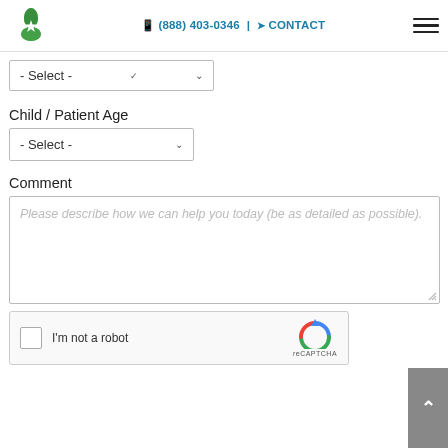(888) 403-0346 | CONTACT
[Figure (logo): Green four-petal flower logo with white center star]
- Select -
Child / Patient Age
- Select -
Comment
Please describe how we can help you today (be as detailed as possible).
I'm not a robot
reCAPTCHA